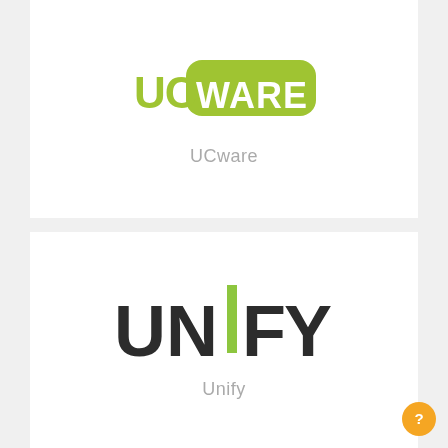[Figure (logo): UCware logo: green/yellow-green rounded rectangle badge with 'UC' text in green and 'WARE' in white on green background]
UCware
[Figure (logo): Unify logo: dark bold sans-serif text 'UNIFY' with green vertical bar replacing the letter I]
Unify